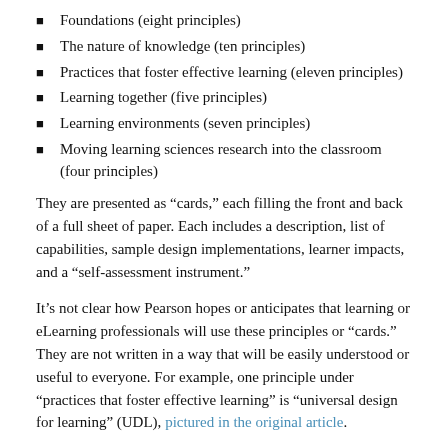Foundations (eight principles)
The nature of knowledge (ten principles)
Practices that foster effective learning (eleven principles)
Learning together (five principles)
Learning environments (seven principles)
Moving learning sciences research into the classroom (four principles)
They are presented as “cards,” each filling the front and back of a full sheet of paper. Each includes a description, list of capabilities, sample design implementations, learner impacts, and a “self-assessment instrument.”
It’s not clear how Pearson hopes or anticipates that learning or eLearning professionals will use these principles or “cards.” They are not written in a way that will be easily understood or useful to everyone. For example, one principle under “practices that foster effective learning” is “universal design for learning” (UDL), pictured in the original article.
The description offers a broad definition of what UDL means and why it